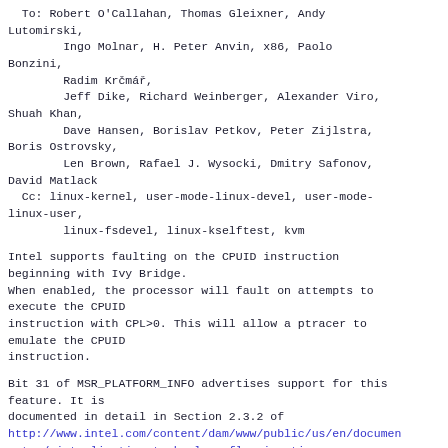To: Robert O'Callahan, Thomas Gleixner, Andy Lutomirski,
        Ingo Molnar, H. Peter Anvin, x86, Paolo Bonzini,
        Radim Krčmář,
        Jeff Dike, Richard Weinberger, Alexander Viro, Shuah Khan,
        Dave Hansen, Borislav Petkov, Peter Zijlstra, Boris Ostrovsky,
        Len Brown, Rafael J. Wysocki, Dmitry Safonov, David Matlack
  Cc: linux-kernel, user-mode-linux-devel, user-mode-linux-user,
        linux-fsdevel, linux-kselftest, kvm
Intel supports faulting on the CPUID instruction beginning with Ivy Bridge.
When enabled, the processor will fault on attempts to execute the CPUID
instruction with CPL>0. This will allow a ptracer to emulate the CPUID
instruction.
Bit 31 of MSR_PLATFORM_INFO advertises support for this feature. It is
documented in detail in Section 2.3.2 of
http://www.intel.com/content/dam/www/public/us/en/documents/application-notes/virtualization-technology-flexmigration-application-note.pdf